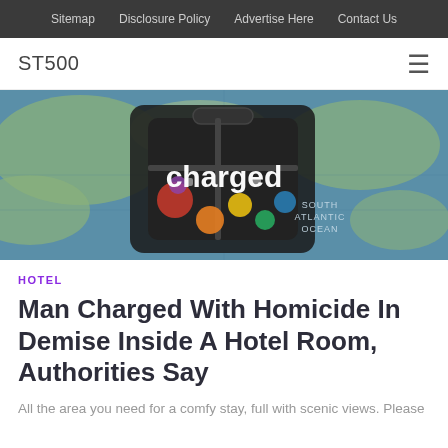Sitemap  Disclosure Policy  Advertise Here  Contact Us
ST500
[Figure (photo): A travel suitcase covered with destination stickers placed on top of a world map, with the word 'charged' overlaid in white bold text. The map shows the South Atlantic Ocean region.]
HOTEL
Man Charged With Homicide In Demise Inside A Hotel Room, Authorities Say
All the area you need for a comfy stay, full with scenic views. Please